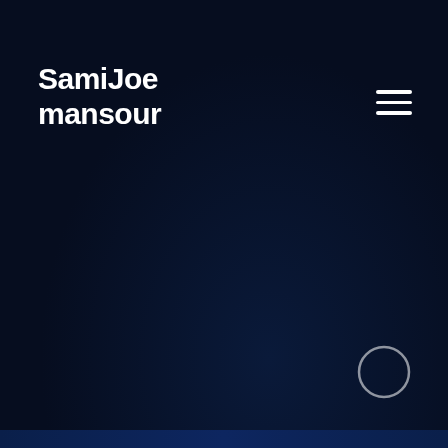SamiJoe mansour
[Figure (other): Hamburger menu icon (three horizontal lines) in the top right corner]
[Figure (other): Circle/scroll button in the bottom right corner]